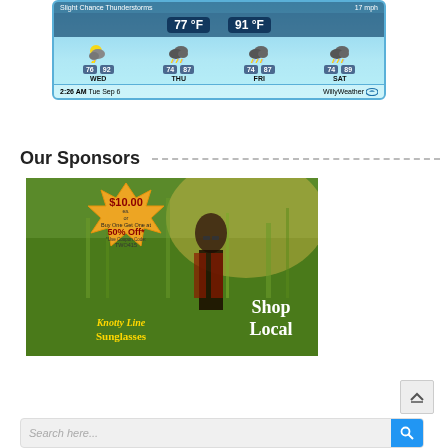[Figure (screenshot): Weather widget showing WED 76/92, THU 74/87, FRI 74/87, SAT 74/89 with thunderstorm icons, 77°F 91°F current temps, timestamp 2:26 AM Tue Sep 6, WillyWeather branding]
Our Sponsors
[Figure (photo): Advertisement for Knotty Line Sunglasses: $10.00 ea, Buy One Get One at 50% Off*, *Use Coupon Code: TWO415. Shows woman in sunglasses in field. Shop Local.]
[Figure (screenshot): Search bar with placeholder text 'Search here...' and blue search button]